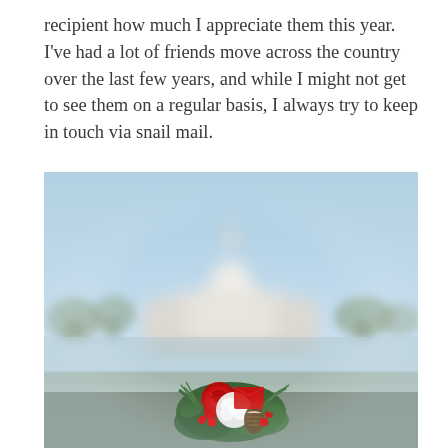recipient how much I appreciate them this year. I've had a lot of friends move across the country over the last few years, and while I might not get to see them on a regular basis, I always try to keep in touch via snail mail.
[Figure (photo): A bouquet of red roses and white flowers with greenery and pine cones held in front of a blurred US Capitol building under a clear blue sky.]